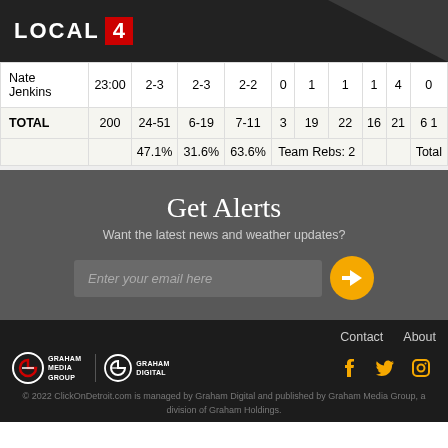LOCAL 4
| Player | MIN | FG | 3PT | FT | OREB | DREB | REB | AST | PTS | TO |
| --- | --- | --- | --- | --- | --- | --- | --- | --- | --- | --- |
| Nate Jenkins | 23:00 | 2-3 | 2-3 | 2-2 | 0 | 1 | 1 | 1 | 4 | 0 |
| TOTAL | 200 | 24-51 | 6-19 | 7-11 | 3 | 19 | 22 | 16 | 21 | 6 1 |
|  |  | 47.1% | 31.6% | 63.6% | Team Rebs: 2 |  |  |  |  | Total |
Get Alerts
Want the latest news and weather updates?
Enter your email here
Contact   About
© 2022 ClickOnDetroit.com is managed by Graham Digital and published by Graham Media Group, a division of Graham Holdings.